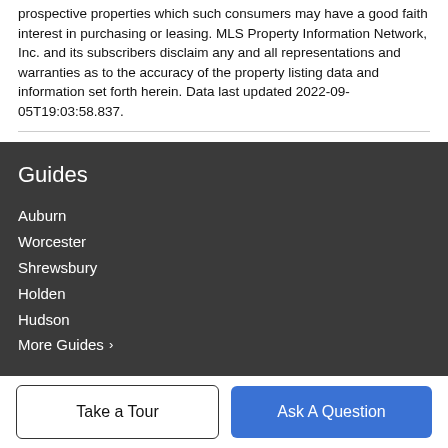prospective properties which such consumers may have a good faith interest in purchasing or leasing. MLS Property Information Network, Inc. and its subscribers disclaim any and all representations and warranties as to the accuracy of the property listing data and information set forth herein. Data last updated 2022-09-05T19:03:58.837.
Guides
Auburn
Worcester
Shrewsbury
Holden
Hudson
More Guides ›
Company